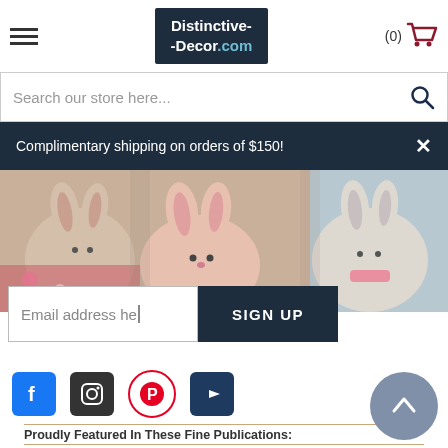[Figure (logo): Distinctive-Decor.com logo in dark navy box with cart icon and hamburger menu]
Search our store here...
Complimentary shipping on orders of $150!
[Figure (photo): Stuffed bunny toys in various colors arranged together]
Email address here
SIGN UP
[Figure (infographic): Social media icons: Facebook, Instagram, Pinterest, YouTube]
Proudly Featured In These Fine Publications: